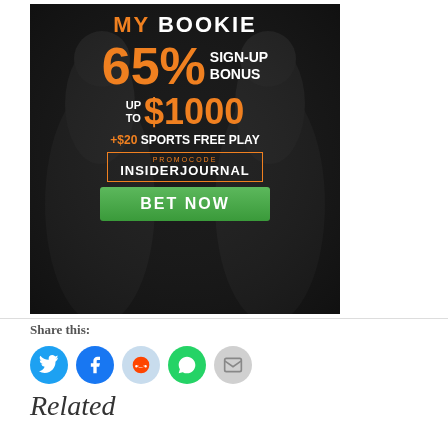[Figure (advertisement): MyBookie sports betting advertisement featuring two MMA fighters. Text reads: MY BOOKIE, 65% SIGN-UP BONUS, UP TO $1000, +$20 SPORTS FREE PLAY, PROMOCODE INSIDERJOURNAL, BET NOW button]
Share this:
Related